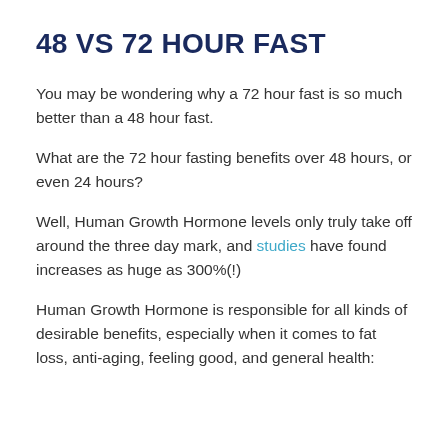48 VS 72 HOUR FAST
You may be wondering why a 72 hour fast is so much better than a 48 hour fast.
What are the 72 hour fasting benefits over 48 hours, or even 24 hours?
Well, Human Growth Hormone levels only truly take off around the three day mark, and studies have found increases as huge as 300%(!)
Human Growth Hormone is responsible for all kinds of desirable benefits, especially when it comes to fat loss, anti-aging, feeling good, and general health: